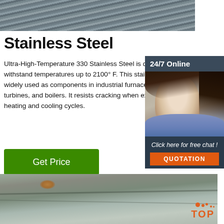[Figure (photo): Close-up photo of stainless steel wires or metal surface with diagonal ridged texture, grey-blue tones]
Stainless Steel
Ultra-High-Temperature 330 Stainless Steel is designed to withstand temperatures up to 2100° F. This stainless steel is widely used as components in industrial furnaces, gas turbines, and boilers. It resists cracking when exposed to heating and cooling cycles.
[Figure (photo): Customer service representative woman with headset smiling, sidebar widget with 24/7 Online header and chat/quotation buttons]
[Figure (photo): Close-up photo of stainless steel plates or sheets stacked, with some rust spots, grey metallic tones, with TOP logo overlay]